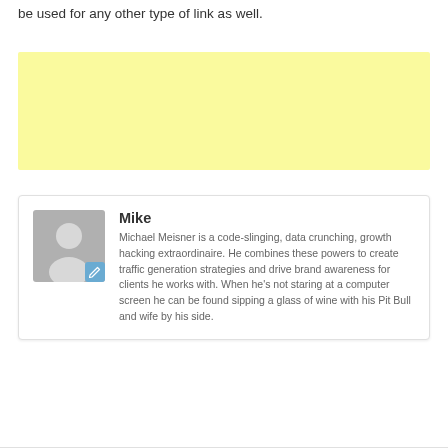be used for any other type of link as well.
[Figure (other): Yellow advertisement placeholder banner]
[Figure (other): Author profile card showing avatar of Mike (Michael Meisner) with bio text and edit icon]
Mike
Michael Meisner is a code-slinging, data crunching, growth hacking extraordinaire. He combines these powers to create traffic generation strategies and drive brand awareness for clients he works with. When he's not staring at a computer screen he can be found sipping a glass of wine with his Pit Bull and wife by his side.